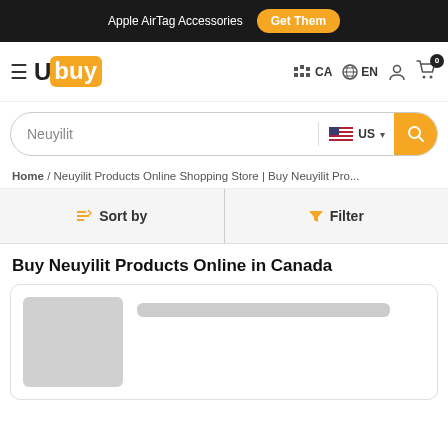Apple AirTag Accessories  Get Them
[Figure (logo): Ubuy logo with hamburger menu and navigation icons for CA, EN, user account, and cart with 0 items]
Neuyilit  US
Home / Neuyilit Products Online Shopping Store | Buy Neuyilit Pro...
Sort by  Filter
Buy Neuyilit Products Online in Canada
[Figure (other): Product card with gray image placeholder and gray title bar placeholder]